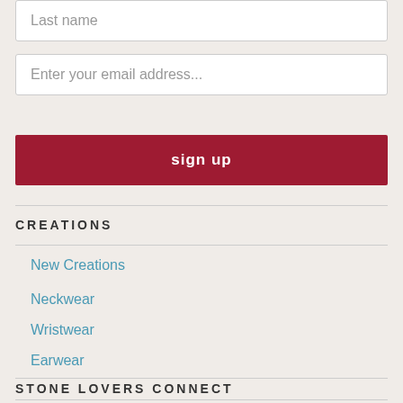Last name
Enter your email address...
sign up
CREATIONS
New Creations
Neckwear
Wristwear
Earwear
STONE LOVERS CONNECT
Keep in Touch & Share Your Stone Lover Moments